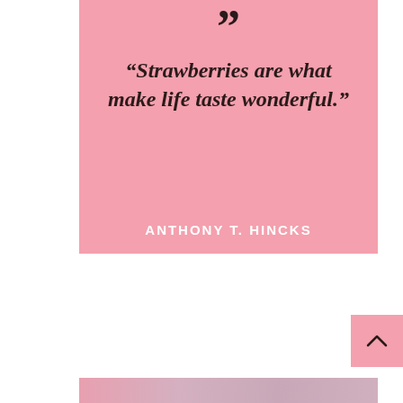[Figure (illustration): Pink quote card with opening quotation mark at top, italic bold quote text, and author name at bottom in white uppercase letters. Background is pink (#f4a0ae).]
“Strawberries are what make life taste wonderful.”
ANTHONY T. HINCKS
[Figure (other): Small pink square button with a caret/chevron pointing upward, positioned in lower right area.]
[Figure (photo): Partial photo strip at very bottom of page showing pink/purple blurred image, likely strawberries.]